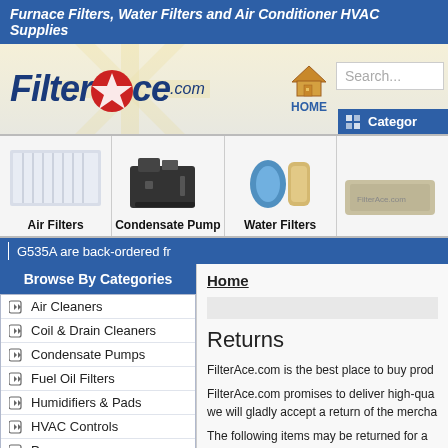Furnace Filters, Water Filters and Air Conditioner HVAC Supplies
[Figure (logo): FilterAce.com logo with star graphic, home icon, search box, and Categories button]
[Figure (photo): Air Filters product image]
[Figure (photo): Condensate Pump product image]
[Figure (photo): Water Filters product image]
[Figure (photo): Fourth product image (partially visible)]
G535A are back-ordered fr
Browse By Categories
Air Cleaners
Coil & Drain Cleaners
Condensate Pumps
Fuel Oil Filters
Humidifiers & Pads
HVAC Controls
Pumps
Ultraviolet Air Purifiers
Water Gardening
Water Gardening Pumps
Home
Returns
FilterAce.com is the best place to buy prod
FilterAce.com promises to deliver high-qua we will gladly accept a return of the mercha
The following items may be returned for a
Merchandise that has not been r